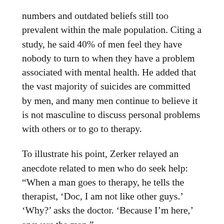numbers and outdated beliefs still too prevalent within the male population. Citing a study, he said 40% of men feel they have nobody to turn to when they have a problem associated with mental health. He added that the vast majority of suicides are committed by men, and many men continue to believe it is not masculine to discuss personal problems with others or to go to therapy.
To illustrate his point, Zerker relayed an anecdote related to men who do seek help: “When a man goes to therapy, he tells the therapist, ‘Doc, I am not like other guys.’ ‘Why?’ asks the doctor. ‘Because I’m here,’ answers the man.”
A chartered financial analyst, Zerker worked for seven years as a portfolio manager at a hedge fund in Toronto. Despite his outward success, he felt unfulfilled in his life, with little motivation to work